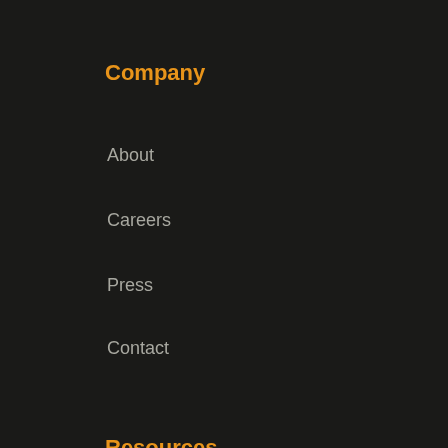Company
About
Careers
Press
Contact
Resources
Blog
Case Studies
Podcasts